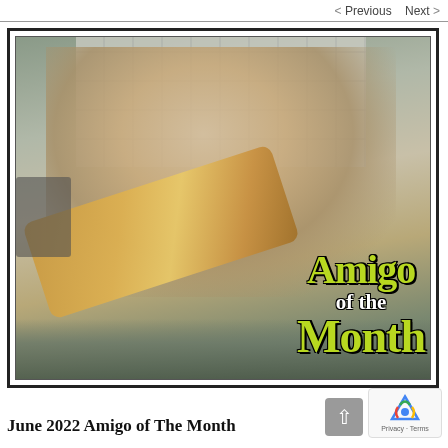< Previous   Next >
[Figure (photo): A smiling woman with blonde hair rolling pasta dough in a kitchen, with overlaid text reading 'Amigo of the Month' in yellow-green and white bold serif font.]
June 2022 Amigo of The Month